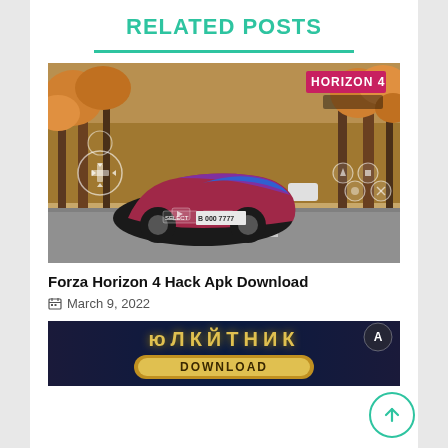RELATED POSTS
[Figure (screenshot): Forza Horizon 4 game screenshot showing a red/blue Lamborghini on an autumn road with gamepad overlay controls and HORIZON 4 badge in top right]
Forza Horizon 4 Hack Apk Download
March 9, 2022
[Figure (screenshot): Partial view of a second game-related post image with dark background, gold stylized text and logo]